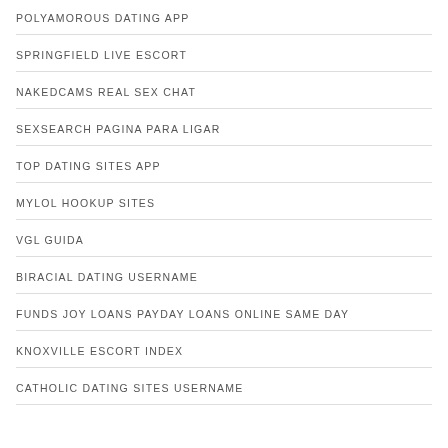POLYAMOROUS DATING APP
SPRINGFIELD LIVE ESCORT
NAKEDCAMS REAL SEX CHAT
SEXSEARCH PAGINA PARA LIGAR
TOP DATING SITES APP
MYLOL HOOKUP SITES
VGL GUIDA
BIRACIAL DATING USERNAME
FUNDS JOY LOANS PAYDAY LOANS ONLINE SAME DAY
KNOXVILLE ESCORT INDEX
CATHOLIC DATING SITES USERNAME